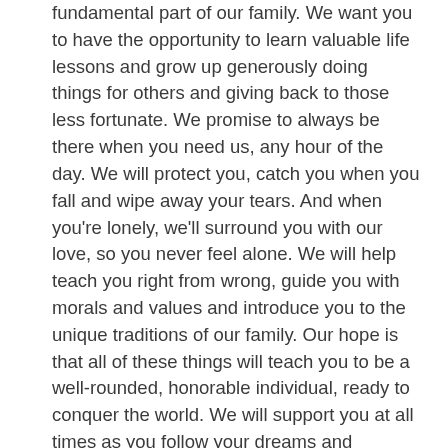fundamental part of our family. We want you to have the opportunity to learn valuable life lessons and grow up generously doing things for others and giving back to those less fortunate. We promise to always be there when you need us, any hour of the day. We will protect you, catch you when you fall and wipe away your tears. And when you're lonely, we'll surround you with our love, so you never feel alone. We will help teach you right from wrong, guide you with morals and values and introduce you to the unique traditions of our family. Our hope is that all of these things will teach you to be a well-rounded, honorable individual, ready to conquer the world. We will support you at all times as you follow your dreams and become the person you were always meant to be. You will know the feeling of self-worth and accomplishment because we will be on the side lines cheering you on each step of the way. We will strive to see the world through your eyes and remain young at